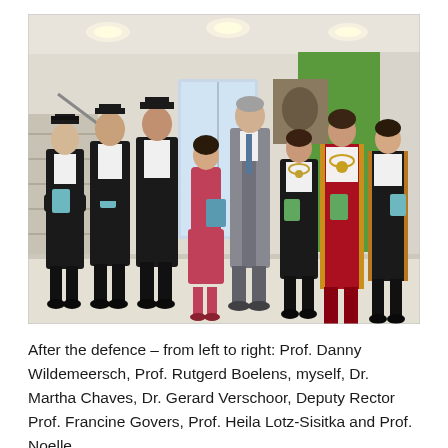[Figure (photo): Group photo of nine people standing in a university building lobby after a doctoral defence. Several people are wearing academic robes and mortarboard hats. One woman is wearing a red academic gown. One woman is wearing a pink/red dress. The interior has a green wall, white columns, and overhead lighting.]
After the defence – from left to right: Prof. Danny Wildemeersch, Prof. Rutgerd Boelens, myself, Dr. Martha Chaves, Dr. Gerard Verschoor, Deputy Rector Prof. Francine Govers, Prof. Heila Lotz-Sisitka and Prof. Noelle